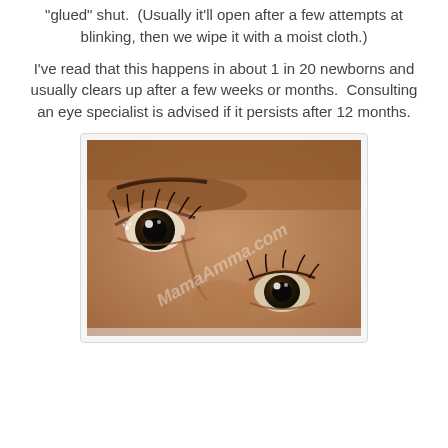"glued" shut.  (Usually it'll open after a few attempts at blinking, then we wipe it with a moist cloth.)
I've read that this happens in about 1 in 20 newborns and usually clears up after a few weeks or months.  Consulting an eye specialist is advised if it persists after 12 months.
[Figure (photo): Close-up photo of a newborn baby's face showing both eyes, with visible discharge/crust at the inner corner of one eye. Watermark reads 'MamaAmma.com'.]